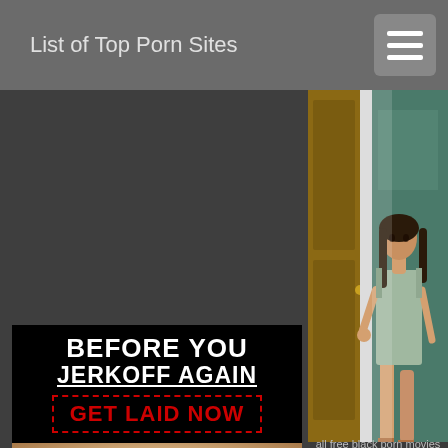List of Top Porn Sites
[Figure (photo): Photo of a woman in a short dress standing in a doorway of what appears to be a hotel or upscale room, partially visible on the right side of the page]
[Figure (infographic): Black advertisement banner reading 'BEFORE YOU JERKOFF AGAIN' with underline and red dashed bordered 'GET LAID NOW' call to action]
[Figure (photo): Close-up skin texture photo, partially visible at bottom left]
all free black porn movies austrialian po... russian porn free...